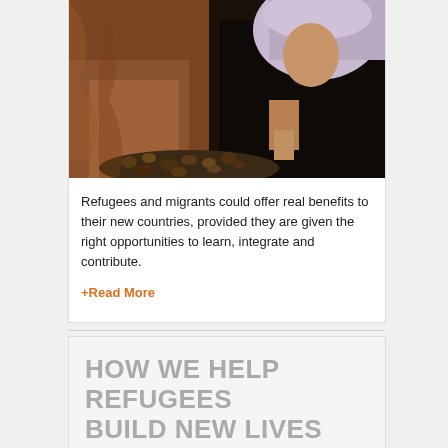[Figure (photo): Two women in headscarves, one in orange/brown wrap and one in dark clothing with a lavender headscarf, looking at a tray of dates or similar food items.]
Refugees and migrants could offer real benefits to their new countries, provided they are given the right opportunities to learn, integrate and contribute.
+Read More
HOW WE HELP REFUGEES BUILD NEW LIVES
[Figure (photo): Partial view of people, colorful clothing visible at bottom of page.]